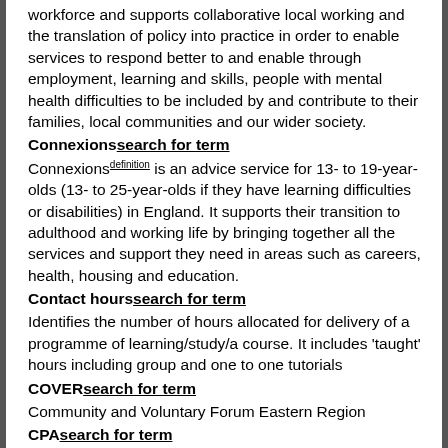workforce and supports collaborative local working and the translation of policy into practice in order to enable services to respond better to and enable through employment, learning and skills, people with mental health difficulties to be included by and contribute to their families, local communities and our wider society.
Connexionssearch for term
Connexions[definition] is an advice service for 13- to 19-year-olds (13- to 25-year-olds if they have learning difficulties or disabilities) in England. It supports their transition to adulthood and working life by bringing together all the services and support they need in areas such as careers, health, housing and education.
Contact hourssearch for term
Identifies the number of hours allocated for delivery of a programme of learning/study/a course. It includes 'taught' hours including group and one to one tutorials
COVERsearch for term
Community and Voluntary Forum Eastern Region
CPAsearch for term